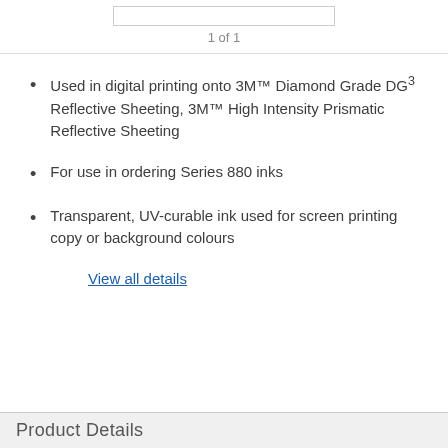1 of 1
Used in digital printing onto 3M™ Diamond Grade DG³ Reflective Sheeting, 3M™ High Intensity Prismatic Reflective Sheeting
For use in ordering Series 880 inks
Transparent, UV-curable ink used for screen printing copy or background colours
View all details
Product Details